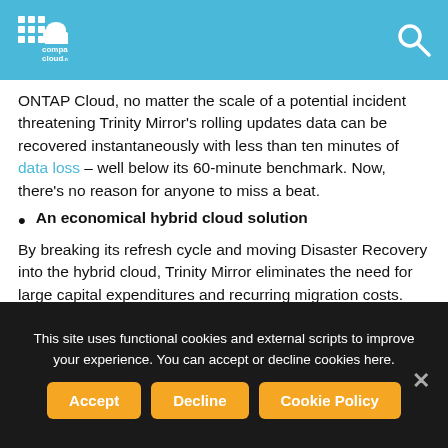comparecloud.net
ONTAP Cloud, no matter the scale of a potential incident threatening Trinity Mirror's rolling updates data can be recovered instantaneously with less than ten minutes of data loss – well below its 60-minute benchmark. Now, there's no reason for anyone to miss a beat.
An economical hybrid cloud solution
By breaking its refresh cycle and moving Disaster Recovery into the hybrid cloud, Trinity Mirror eliminates the need for large capital expenditures and recurring migration costs. Meanwhile, ONTAP Cloud's 'pilot-mode' assumes an on-demand cost structure, so while the software is idle in the cloud it is not paid for until the
This site uses functional cookies and external scripts to improve your experience. You can accept or decline cookies here.